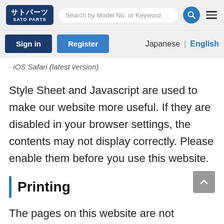[Figure (screenshot): SATO PARTS website header with logo, search bar, search button, and hamburger menu]
[Figure (screenshot): Navigation row with Sign in and Register buttons, and Japanese / English language toggle]
iOS Safari (latest version)
Style Sheet and Javascript are used to make our website more useful. If they are disabled in your browser settings, the contents may not display correctly. Please enable them before you use this website.
Printing
The pages on this website are not designed for